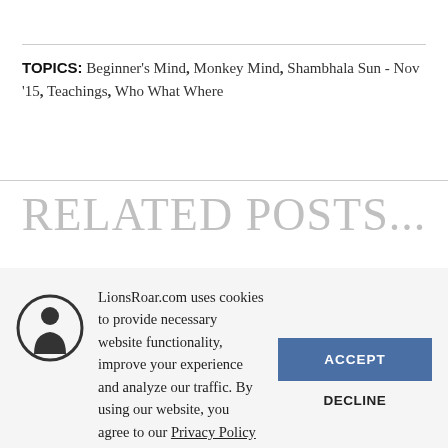TOPICS: Beginner's Mind, Monkey Mind, Shambhala Sun - Nov '15, Teachings, Who What Where
RELATED POSTS...
LionsRoar.com uses cookies to provide necessary website functionality, improve your experience and analyze our traffic. By using our website, you agree to our Privacy Policy and our cookies usage.